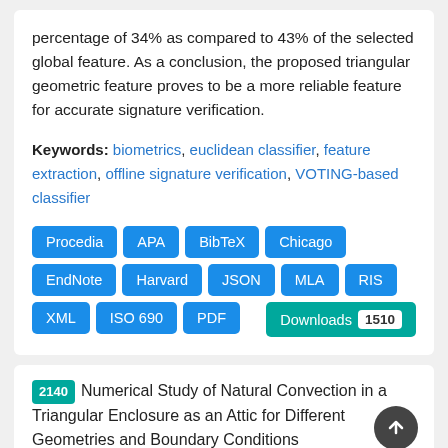percentage of 34% as compared to 43% of the selected global feature. As a conclusion, the proposed triangular geometric feature proves to be a more reliable feature for accurate signature verification.
Keywords: biometrics, euclidean classifier, feature extraction, offline signature verification, VOTING-based classifier
Procedia
APA
BibTeX
Chicago
EndNote
Harvard
JSON
MLA
RIS
XML
ISO 690
PDF
Downloads 1510
2140 Numerical Study of Natural Convection in a Triangular Enclosure as an Attic for Different Geometries and Boundary Conditions